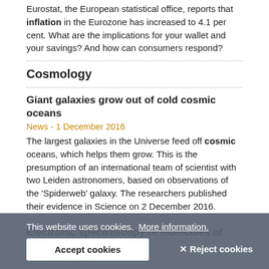Eurostat, the European statistical office, reports that inflation in the Eurozone has increased to 4.1 per cent. What are the implications for your wallet and your savings? And how can consumers respond?
Cosmology
Giant galaxies grow out of cold cosmic oceans
News - 1 December 2016
The largest galaxies in the Universe feed off cosmic oceans, which helps them grow. This is the presumption of an international team of scientist with two Leiden astronomers, based on observations of the 'Spiderweb' galaxy. The researchers published their evidence in Science on 2 December 2016.
Electronic spectroscopy of molecules of astrophysical interest
Research output
This thesis revolves around the electronic spectroscopy of molecules in the laboratory and the search for the carriers of the diffuse interstellar bands (DIBs).
Cosmic recipe discovered for making glycerol
This website uses cookies.  More information.
Accept cookies
✕ Reject cookies